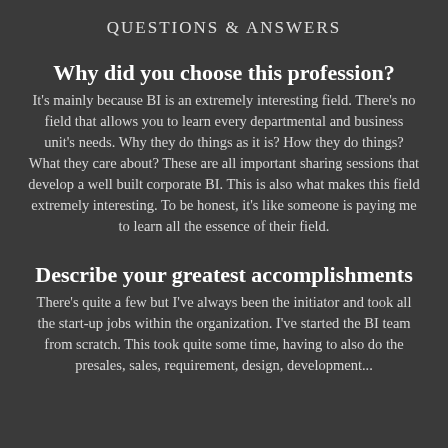QUESTIONS & ANSWERS
Why did you choose this profession?
It's mainly because BI is an extremely interesting field. There's no field that allows you to learn every departmental and business unit's needs. Why they do things as it is? How they do things? What they care about? These are all important sharing sessions that develop a well built corporate BI. This is also what makes this field extremely interesting. To be honest, it's like someone is paying me to learn all the essence of their field.
Describe your greatest accomplishments
There's quite a few but I've always been the initiator and took all the start-up jobs within the organization. I've started the BI team from scratch. This took quite some time, having to also do the presales, sales, requirement, design, development...